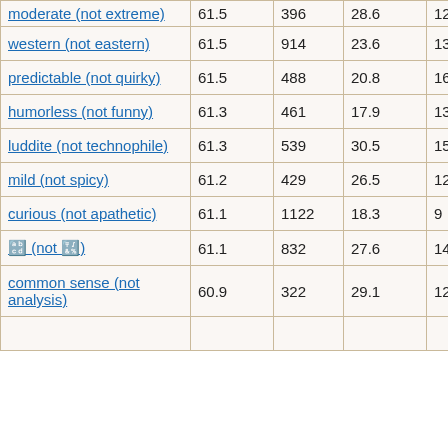| moderate (not extreme) | 61.5 | 396 | 28.6 | 12 |
| western (not eastern) | 61.5 | 914 | 23.6 | 13 |
| predictable (not quirky) | 61.5 | 488 | 20.8 | 16 |
| humorless (not funny) | 61.3 | 461 | 17.9 | 13 |
| luddite (not technophile) | 61.3 | 539 | 30.5 | 15 |
| mild (not spicy) | 61.2 | 429 | 26.5 | 12 |
| curious (not apathetic) | 61.1 | 1122 | 18.3 | 9 |
| 🔢 (not 🔣) | 61.1 | 832 | 27.6 | 14 |
| common sense (not analysis) | 60.9 | 322 | 29.1 | 12 |